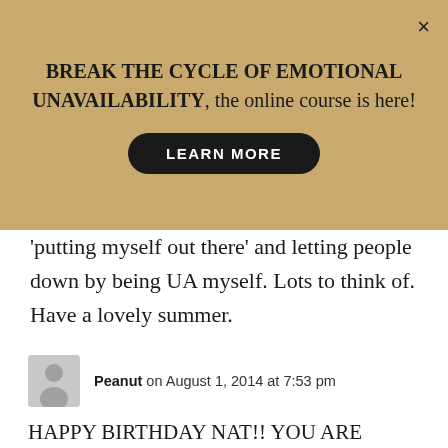[Figure (infographic): Promotional banner with tan/gold background showing text 'BREAK THE CYCLE OF EMOTIONAL UNAVAILABILITY, the online course is here!' with a black 'LEARN MORE' button and an X close button]
'putting myself out there' and letting people down by being UA myself. Lots to think of. Have a lovely summer.
Peanut on August 1, 2014 at 7:53 pm
HAPPY BIRTHDAY NAT!! YOU ARE SUCH A BABE & YOUR BABE IS ADORBS.